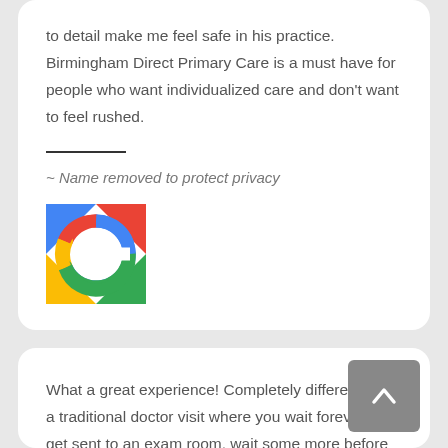to detail make me feel safe in his practice. Birmingham Direct Primary Care is a must have for people who want individualized care and don't want to feel rushed.
~ Name removed to protect privacy
[Figure (logo): Google logo icon — colourful G on rounded square background]
What a great experience! Completely different from a traditional doctor visit where you wait forever to get sent to an exam room, wait some more before seeing the doctor, and then spend less than 5 minutes with